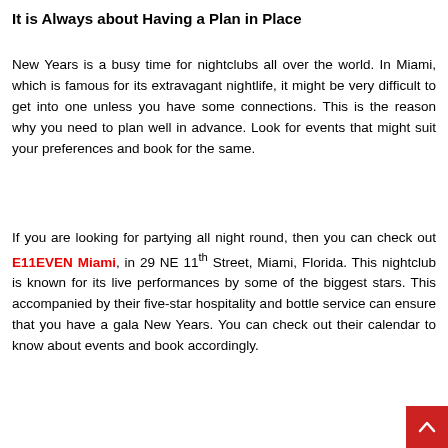It is Always about Having a Plan in Place
New Years is a busy time for nightclubs all over the world. In Miami, which is famous for its extravagant nightlife, it might be very difficult to get into one unless you have some connections. This is the reason why you need to plan well in advance. Look for events that might suit your preferences and book for the same.
If you are looking for partying all night round, then you can check out E11EVEN Miami, in 29 NE 11th Street, Miami, Florida. This nightclub is known for its live performances by some of the biggest stars. This accompanied by their five-star hospitality and bottle service can ensure that you have a gala New Years. You can check out their calendar to know about events and book accordingly.